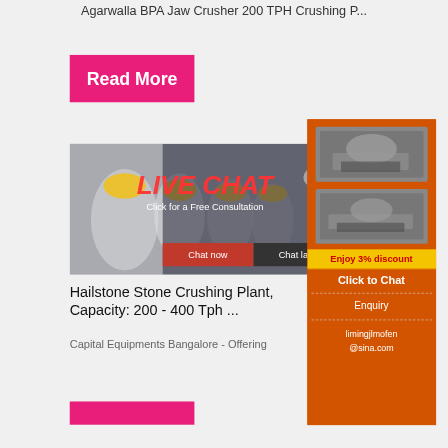Agarwalla BPA Jaw Crusher 200 TPH Crushing P...
[Figure (screenshot): Pink 'Read More' button on light gray background]
[Figure (photo): Live Chat popup overlay on photo of workers in hard hats; red 'Chat now' and dark 'Chat later' buttons]
[Figure (photo): Orange sidebar advertisement showing crushing/mining machines, '3% discount', 'Click to Chat', 'Enquiry', and 'limingjlmofen@sina.com']
Hailstone Stone Crushing Plant, Capacity: 200 - 400 Tph ...
Capital Equipments Bangalore - Offering
[Figure (screenshot): Pink 'Read More' button at bottom of page]